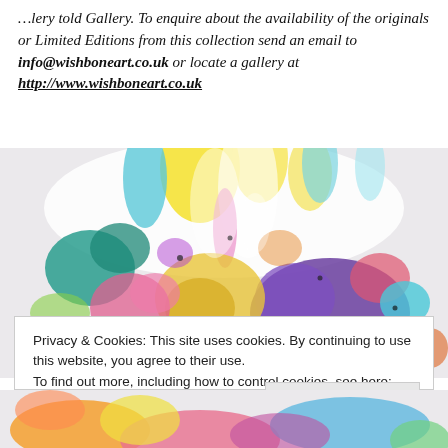...lery told Gallery. To enquire about the availability of the originals or Limited Editions from this collection send an email to info@wishboneart.co.uk or locate a gallery at http://www.wishboneart.co.uk
[Figure (photo): Colourful abstract painting with vibrant splashes of yellow, blue, purple, pink, teal, and green paint against a white background, resembling an explosion of flowers]
Privacy & Cookies: This site uses cookies. By continuing to use this website, you agree to their use.
To find out more, including how to control cookies, see here:
Cookie Policy
Close and accept
[Figure (photo): Bottom strip of colourful abstract painting, showing more paint splashes in orange, pink, and blue tones]